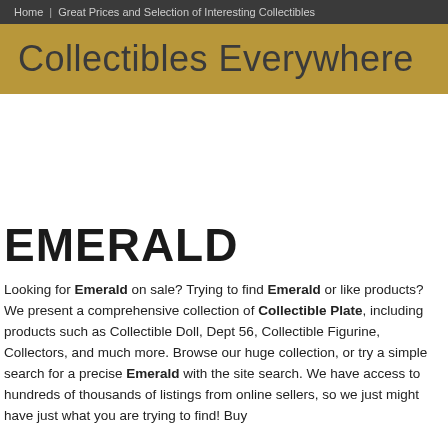Home | Great Prices and Selection of Interesting Collectibles
Collectibles Everywhere
EMERALD
Looking for Emerald on sale? Trying to find Emerald or like products? We present a comprehensive collection of Collectible Plate, including products such as Collectible Doll, Dept 56, Collectible Figurine, Collectors, and much more. Browse our huge collection, or try a simple search for a precise Emerald with the site search. We have access to hundreds of thousands of listings from online sellers, so we just might have just what you are trying to find! Buy